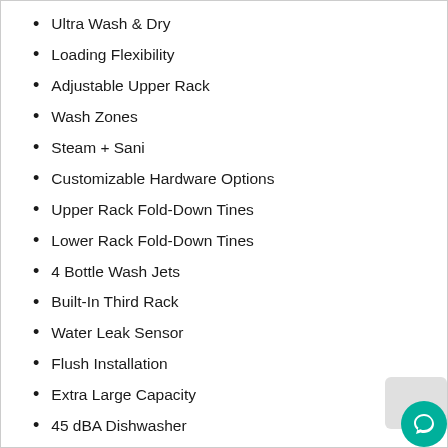Ultra Wash & Dry
Loading Flexibility
Adjustable Upper Rack
Wash Zones
Steam + Sani
Customizable Hardware Options
Upper Rack Fold-Down Tines
Lower Rack Fold-Down Tines
4 Bottle Wash Jets
Built-In Third Rack
Water Leak Sensor
Flush Installation
Extra Large Capacity
45 dBA Dishwasher
Optional WiFi